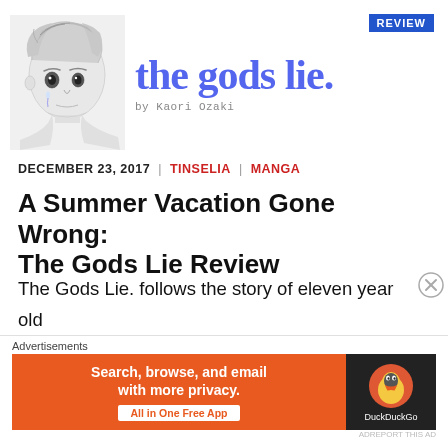REVIEW
[Figure (illustration): Anime-style illustration of a young boy with light hair looking downward, drawn in grayscale/sketch style]
the gods lie. by Kaori Ozaki
DECEMBER 23, 2017 | TINSELIA | MANGA
A Summer Vacation Gone Wrong: The Gods Lie Review
The Gods Lie. follows the story of eleven year old Natsuru Nanao - a young boy who loves to play football and finds it awkward to talk to girls. One
Advertisements
[Figure (screenshot): DuckDuckGo advertisement banner: orange background with text 'Search, browse, and email with more privacy. All in One Free App' and DuckDuckGo duck logo on dark background]